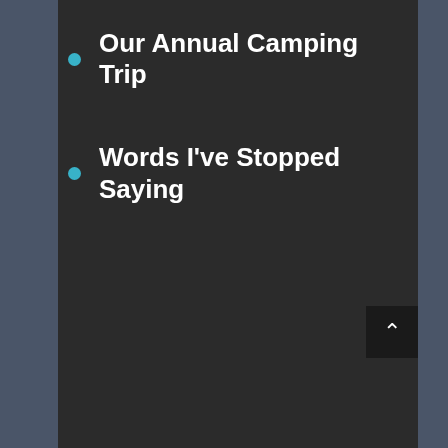Our Annual Camping Trip
Words I've Stopped Saying